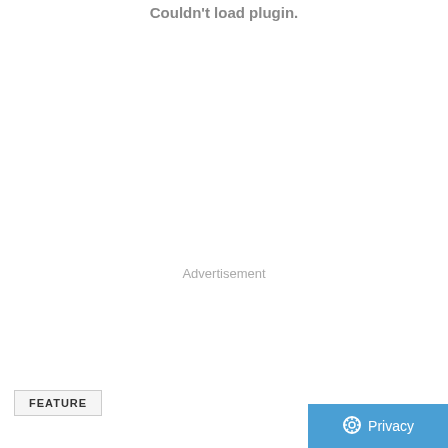Couldn't load plugin.
Advertisement
FEATURE
Privacy